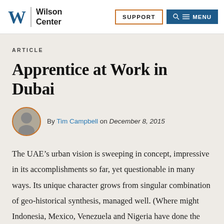Wilson Center | SUPPORT | MENU
ARTICLE
Apprentice at Work in Dubai
By Tim Campbell on December 8, 2015
The UAE’s urban vision is sweeping in concept, impressive in its accomplishments so far, yet questionable in many ways. Its unique character grows from singular combination of geo-historical synthesis, managed well. (Where might Indonesia, Mexico, Venezuela and Nigeria have done the same, given the same kind of oil revenues?) Arab culture is fundamental to the city’s personality, even if expatriates dominate numerically.